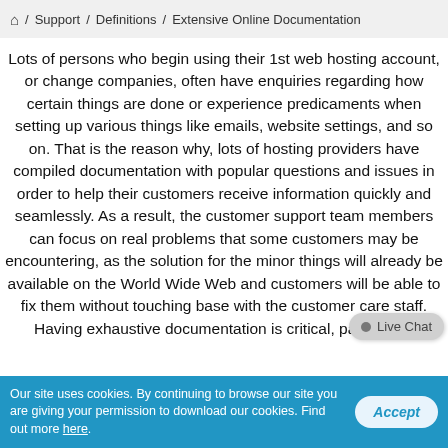🏠 / Support / Definitions / Extensive Online Documentation
Lots of persons who begin using their 1st web hosting account, or change companies, often have enquiries regarding how certain things are done or experience predicaments when setting up various things like emails, website settings, and so on. That is the reason why, lots of hosting providers have compiled documentation with popular questions and issues in order to help their customers receive information quickly and seamlessly. As a result, the customer support team members can focus on real problems that some customers may be encountering, as the solution for the minor things will already be available on the World Wide Web and customers will be able to fix them without touching base with the customer care staff. Having exhaustive documentation is critical, particularly
Our site uses cookies. By continuing to browse our site you are giving your permission to download our cookies. Find out more here.